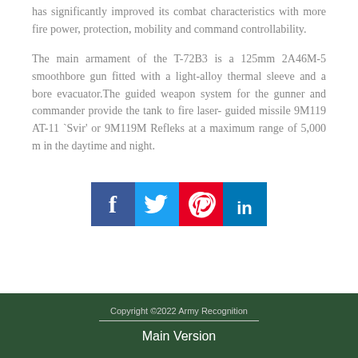has significantly improved its combat characteristics with more fire power, protection, mobility and command controllability.
The main armament of the T-72B3 is a 125mm 2A46M-5 smoothbore gun fitted with a light-alloy thermal sleeve and a bore evacuator.The guided weapon system for the gunner and commander provide the tank to fire laser- guided missile 9M119 AT-11 `Svir' or 9M119M Refleks at a maximum range of 5,000 m in the daytime and night.
[Figure (infographic): Social media sharing icons: Facebook (dark blue), Twitter (light blue), Pinterest (red), LinkedIn (blue)]
Copyright ©2022 Army Recognition
Main Version